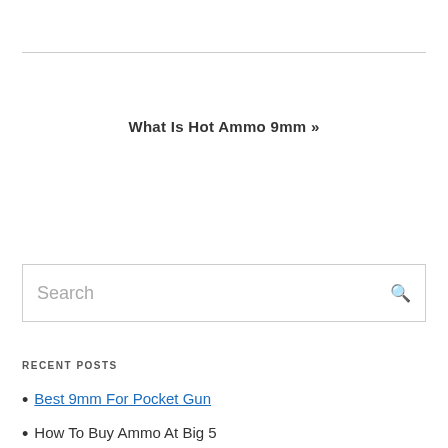What Is Hot Ammo 9mm »
Search
RECENT POSTS
Best 9mm For Pocket Gun
How To Buy Ammo At Big 5…